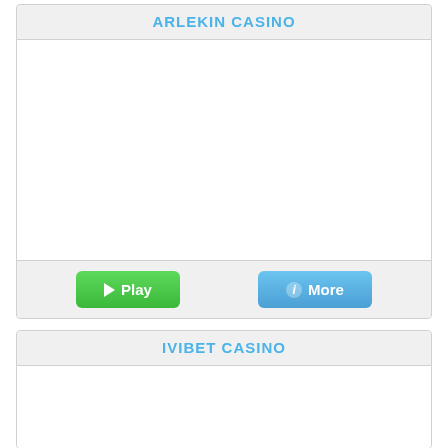ARLEKIN CASINO
[Figure (other): Arlekin Casino card with white image area, Play and More buttons]
IVIBET CASINO
[Figure (other): Ivibet Casino card with white image area]